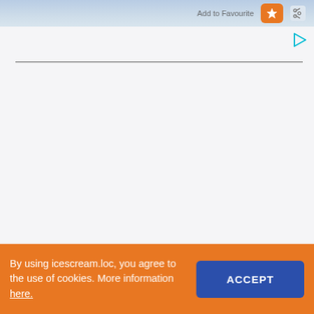[Figure (screenshot): Top navigation bar with light blue gradient background showing 'Add to Favourite' text, an orange bookmark button icon, and a share icon on the right.]
[Figure (screenshot): White/light grey content area with an ad indicator arrow icon (teal/green play triangle) in the upper right corner and a horizontal divider line near the top.]
By using icescream.loc, you agree to the use of cookies. More information here.
ACCEPT